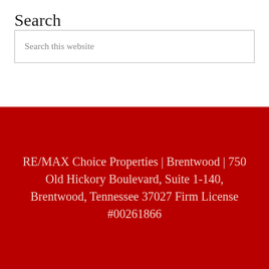Search
Search this website
RE/MAX Choice Properties | Brentwood | 750 Old Hickory Boulevard, Suite 1-140, Brentwood, Tennessee 37027 Firm License #00261866